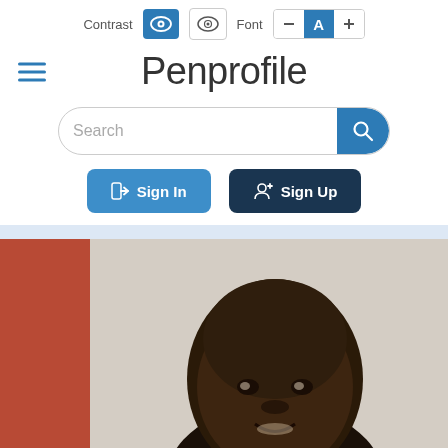[Figure (screenshot): Accessibility toolbar with Contrast toggle buttons (active blue eye icon and inactive eye icon) and Font size controls (minus, A, plus) in a grouped button bar]
Penprofile
[Figure (screenshot): Search bar with rounded border and blue search button on the right]
[Figure (screenshot): Sign In button (medium blue) and Sign Up button (dark navy) side by side]
[Figure (photo): Portrait photo of a Black man smiling, with a terracotta/red panel on the left side and a light textured background]